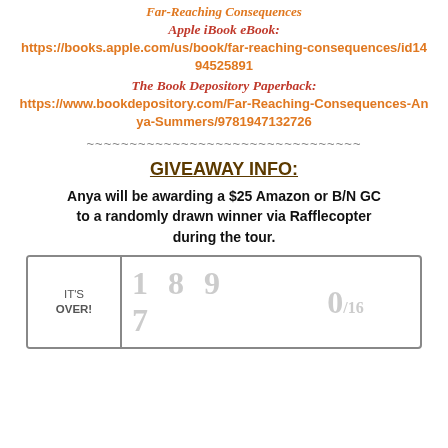Far-Reaching Consequences
Apple iBook eBook:
https://books.apple.com/us/book/far-reaching-consequences/id1494525891
The Book Depository Paperback:
https://www.bookdepository.com/Far-Reaching-Consequences-Anya-Summers/9781947132726
~~~~~~~~~~~~~~~~~~~~~~~~~~~~~~~~
GIVEAWAY INFO:
Anya will be awarding a $25 Amazon or B/N GC to a randomly drawn winner via Rafflecopter during the tour.
[Figure (other): Rafflecopter giveaway widget showing IT'S OVER!, entry count 1897, and 0/16]